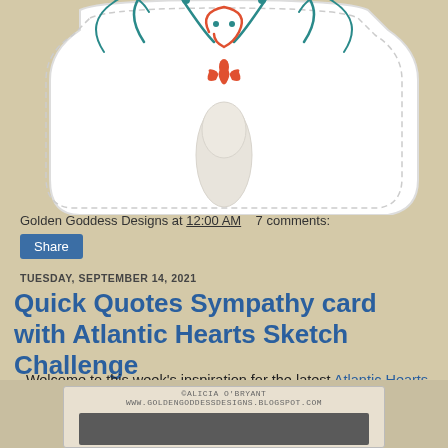[Figure (illustration): Decorative snowman-style ornament with teal and orange swirling flourishes at top, white die-cut card shape with stitched border]
Golden Goddess Designs at 12:00 AM   7 comments:
Share
TUESDAY, SEPTEMBER 14, 2021
Quick Quotes Sympathy card with Atlantic Hearts Sketch Challenge
Welcome to this week's inspiration for the latest Atlantic Hearts Sketch Challenge.  I am low on sympathy cards so I took the opportunity with this sketch.
[Figure (photo): Bottom of a handmade card with watermark text reading ALICIA O'BRYANT www.goldengoddessdesigns.blogspot.com over a dark gray/charcoal card panel]